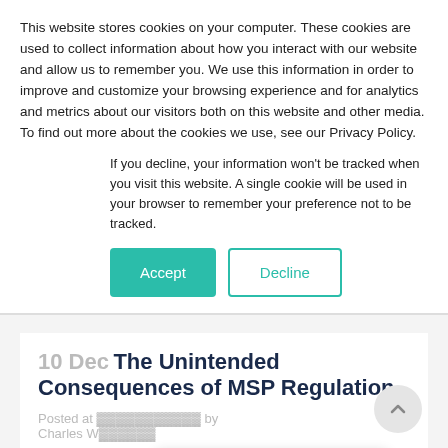This website stores cookies on your computer. These cookies are used to collect information about how you interact with our website and allow us to remember you. We use this information in order to improve and customize your browsing experience and for analytics and metrics about our visitors both on this website and other media. To find out more about the cookies we use, see our Privacy Policy.
If you decline, your information won't be tracked when you visit this website. A single cookie will be used in your browser to remember your preference not to be tracked.
Accept | Decline
10 Dec The Unintended Consequences of MSP Regulation
Posted at ... by Charles W...
We're Online! How may I help you today?